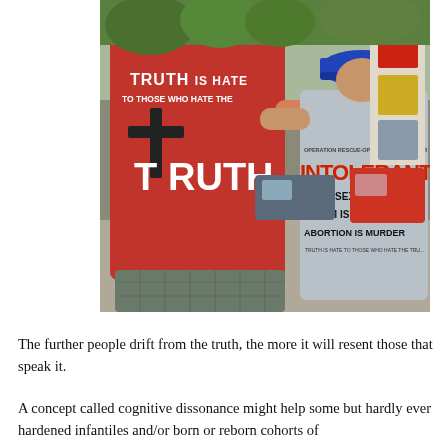[Figure (photo): Two people seen from behind. An adult wearing a red t-shirt reading 'TRUTH IS HATE TO THOSE WHO HATE THE TRUTH' with a cross graphic, and a child wearing a grey t-shirt reading 'INTOLERANT HOMOSEXUALITY IS SIN ISLAM IS A LIE ABORTION IS MURDER' with a blue cap that says 'JESUS'. The child has their arm around the adult.]
The further people drift from the truth, the more it will resent those that speak it.
A concept called cognitive dissonance might help some but hardly ever hardened infantiles and/or born or reborn cohorts of